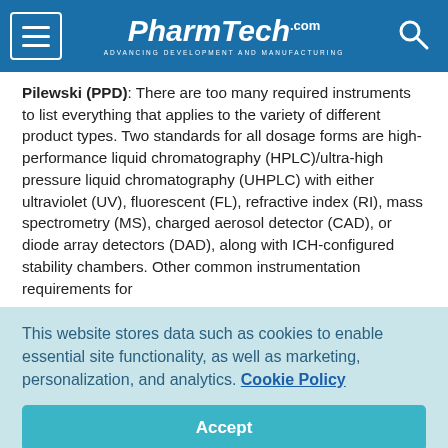PharmTech.com — Advancing Development and Manufacturing
Pilewski (PPD): There are too many required instruments to list everything that applies to the variety of different product types. Two standards for all dosage forms are high-performance liquid chromatography (HPLC)/ultra-high pressure liquid chromatography (UHPLC) with either ultraviolet (UV), fluorescent (FL), refractive index (RI), mass spectrometry (MS), charged aerosol detector (CAD), or diode array detectors (DAD), along with ICH-configured stability chambers. Other common instrumentation requirements for
This website stores data such as cookies to enable essential site functionality, as well as marketing, personalization, and analytics. Cookie Policy
Accept
Deny